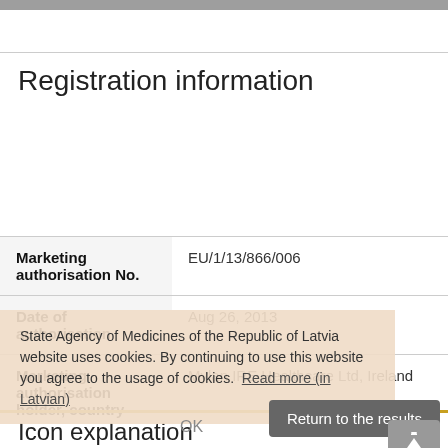Registration information
| Field | Value |
| --- | --- |
| Marketing authorisation No. | EU/1/13/866/006 |
| Date of authorisation | Aug 26, 2013 |
| Marketing authorisation holder, country | Mylan IRE Healthcare Ltd, Ireland |
State Agency of Medicines of the Republic of Latvia website uses cookies. By continuing to use this website you agree to the usage of cookies. Read more (in Latvian)
Return to the results
OK
Icon explanation